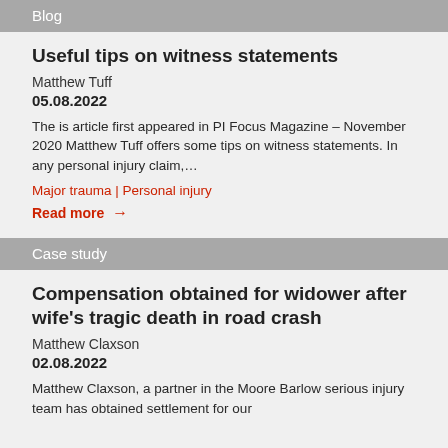Blog
Useful tips on witness statements
Matthew Tuff
05.08.2022
The is article first appeared in PI Focus Magazine – November 2020 Matthew Tuff offers some tips on witness statements. In any personal injury claim,…
Major trauma | Personal injury
Read more →
Case study
Compensation obtained for widower after wife's tragic death in road crash
Matthew Claxson
02.08.2022
Matthew Claxson, a partner in the Moore Barlow serious injury team has obtained settlement for our